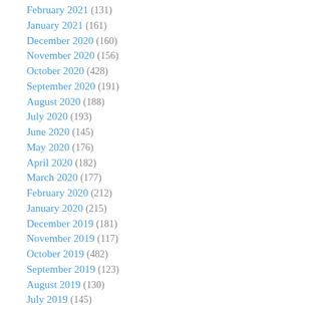February 2021 (131)
January 2021 (161)
December 2020 (160)
November 2020 (156)
October 2020 (428)
September 2020 (191)
August 2020 (188)
July 2020 (193)
June 2020 (145)
May 2020 (176)
April 2020 (182)
March 2020 (177)
February 2020 (212)
January 2020 (215)
December 2019 (181)
November 2019 (117)
October 2019 (482)
September 2019 (123)
August 2019 (130)
July 2019 (145)